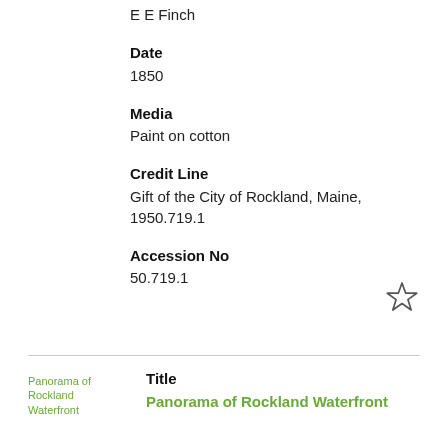E E Finch
Date
1850
Media
Paint on cotton
Credit Line
Gift of the City of Rockland, Maine, 1950.719.1
Accession No
50.719.1
[Figure (illustration): Star/favorite icon (outline star shape)]
[Figure (photo): Thumbnail image placeholder for 'Panorama of Rockland Waterfront']
Title
Panorama of Rockland Waterfront